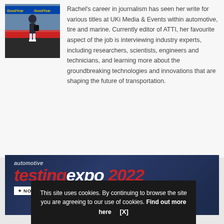[Figure (photo): Photo of a person in a jacket walking on a racing circuit with Goodyear branding visible]
Rachel's career in journalism has seen her write for various titles at UKi Media & Events within automotive, tire and marine. Currently editor of ATTI, her favourite aspect of the job is interviewing industry experts, including researchers, scientists, engineers and technicians, and learning more about the groundbreaking technologies and innovations that are shaping the future of transportation.
[Figure (infographic): Automotive Testing Expo 2022 banner advertisement showing the event name in bold red and white italic text with NOVI and MICHIGAN location labels on dark blue background]
This site uses cookies. By continuing to browse the site you are agreeing to our use of cookies. Find out more here   [X]